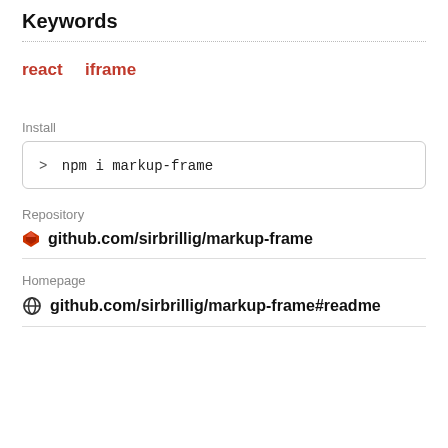Keywords
react   iframe
Install
> npm i markup-frame
Repository
github.com/sirbrillig/markup-frame
Homepage
github.com/sirbrillig/markup-frame#readme